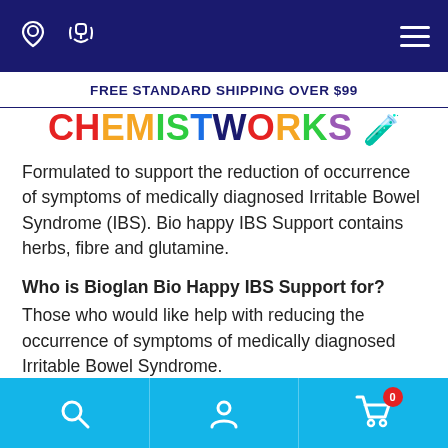ChemistWorks navigation bar with location, phone icons and hamburger menu
FREE STANDARD SHIPPING OVER $99
[Figure (logo): ChemistWorks colorful logo with chemistry flask icon]
Formulated to support the reduction of occurrence of symptoms of medically diagnosed Irritable Bowel Syndrome (IBS). Bio happy IBS Support contains herbs, fibre and glutamine.
Who is Bioglan Bio Happy IBS Support for?
Those who would like help with reducing the occurrence of symptoms of medically diagnosed Irritable Bowel Syndrome.
Why should I take Bioglan Bio Happy IBS Support?
Traditionally used in Western herbal medicine, the
Bottom navigation bar with search, account, and cart (0) icons